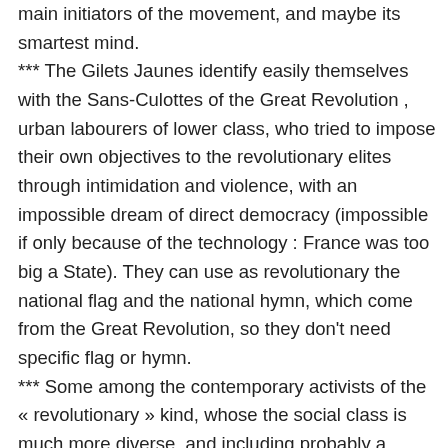main initiators of the movement, and maybe its smartest mind.
*** The Gilets Jaunes identify easily themselves with the Sans-Culottes of the Great Revolution , urban labourers of lower class, who tried to impose their own objectives to the revolutionary elites through intimidation and violence, with an impossible dream of direct democracy (impossible if only because of the technology : France was too big a State). They can use as revolutionary the national flag and the national hymn, which come from the Great Revolution, so they don't need specific flag or hymn.
*** Some among the contemporary activists of the « revolutionary » kind, whose the social class is much more diverse, and including probably a